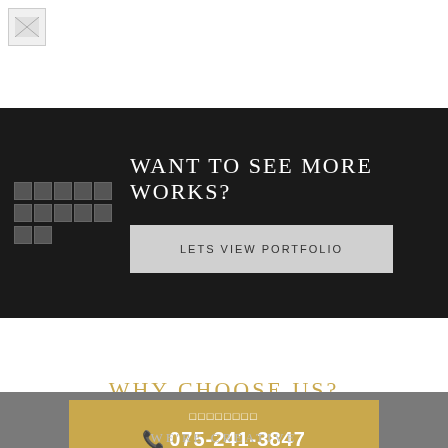[Figure (logo): Small logo image in top left corner]
WANT TO SEE MORE WORKS?
LETS VIEW PORTFOLIO
WHY CHOOSE US?
□□□□□□□□
☎075-241-3847
WE'RE CREATIVE